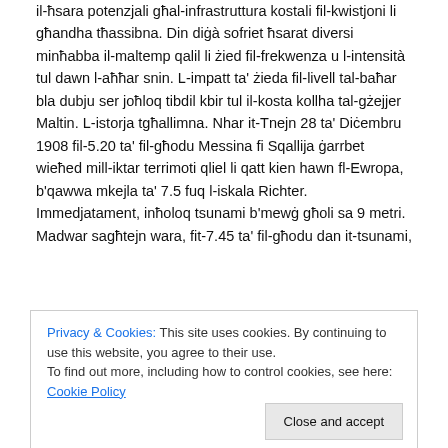il-ħsara potenzjali għal-infrastruttura kostali fil-kwistjoni li għandha tħassibna. Din diġà sofriet ħsarat diversi minħabba il-maltemp qalil li żied fil-frekwenza u l-intensità tul dawn l-aħħar snin. L-impatt ta' żieda fil-livell tal-baħar bla dubju ser joħloq tibdil kbir tul il-kosta kollha tal-gżejjer Maltin. L-istorja tgħallimna. Nhar it-Tnejn 28 ta' Diċembru 1908 fil-5.20 ta' fil-għodu Messina fi Sqallija ġarrbet wieħed mill-iktar terrimoti qliel li qatt kien hawn fl-Ewropa, b'qawwa mkejla ta' 7.5 fuq l-iskala Richter. Immedjatament, inħoloq tsunami b'mewġ għoli sa 9 metri. Madwar sagħtejn wara, fit-7.45 ta' fil-għodu dan it-tsunami,
Privacy & Cookies: This site uses cookies. By continuing to use this website, you agree to their use. To find out more, including how to control cookies, see here: Cookie Policy
baħar telà l-art. Dan baqa' sal-4.00 ta' waranofsinnar